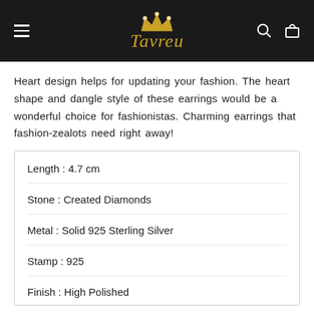Tavreu — navigation header with logo, hamburger menu, search and cart icons
Heart design helps for updating your fashion. The heart shape and dangle style of these earrings would be a wonderful choice for fashionistas. Charming earrings that fashion-zealots need right away!
| Attribute | Value |
| --- | --- |
| Length | 4.7 cm |
| Stone | Created Diamonds |
| Metal | Solid 925 Sterling Silver |
| Stamp | 925 |
| Finish | High Polished |